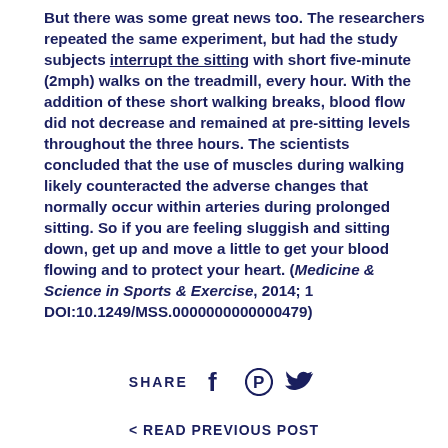But there was some great news too. The researchers repeated the same experiment, but had the study subjects interrupt the sitting with short five-minute (2mph) walks on the treadmill, every hour. With the addition of these short walking breaks, blood flow did not decrease and remained at pre-sitting levels throughout the three hours. The scientists concluded that the use of muscles during walking likely counteracted the adverse changes that normally occur within arteries during prolonged sitting. So if you are feeling sluggish and sitting down, get up and move a little to get your blood flowing and to protect your heart. (Medicine & Science in Sports & Exercise, 2014; 1 DOI:10.1249/MSS.0000000000000479)
SHARE
< READ PREVIOUS POST